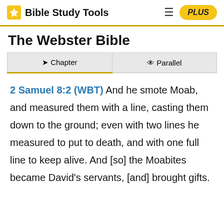Bible Study Tools | PLUS
The Webster Bible
Chapter | Parallel
2 Samuel 8:2 (WBT) And he smote Moab, and measured them with a line, casting them down to the ground; even with two lines he measured to put to death, and with one full line to keep alive. And [so] the Moabites became David's servants, [and] brought gifts.